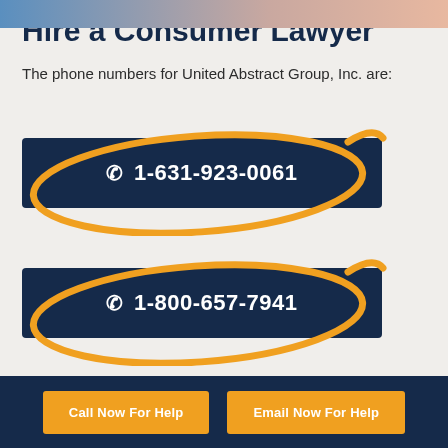[Figure (photo): Top image strip showing partial photo]
Hire a Consumer Lawyer
The phone numbers for United Abstract Group, Inc. are:
☎ 1-631-923-0061
☎ 1-800-657-7941
Call Now For Help
Email Now For Help